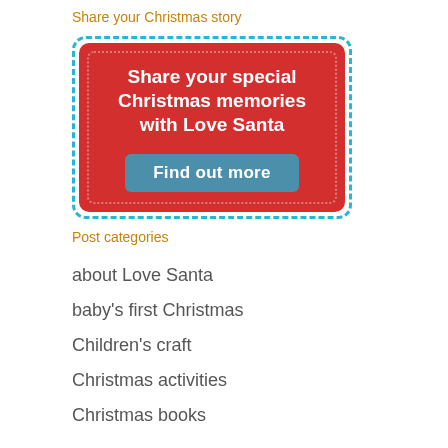Share your Christmas story
[Figure (illustration): Red banner with dashed cyan border containing white bold text 'Share your special Christmas memories with Love Santa' and a blue-grey button 'Find out more']
Post categories
about Love Santa
baby's first Christmas
Children's craft
Christmas activities
Christmas books
Christmas cooking
Christmas crafts
Christmas elves